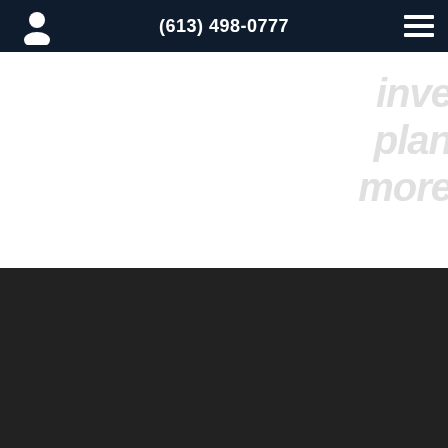(613) 498-0777
inve planning more